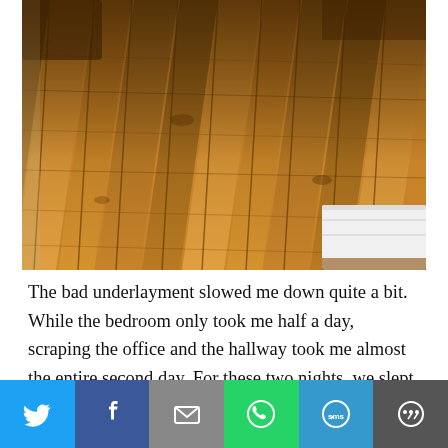[Figure (photo): Close-up photograph of old hardwood flooring with visible wear, dark grain patterns, and warping. A white mattress or furniture piece is visible in the lower right corner.]
The bad underlayment slowed me down quite a bit. While the bedroom only took me half a day, scraping the office and the hallway took me almost the entire second day. For these two nights, we slept on a full mattress on the floor of the basement and basically lived